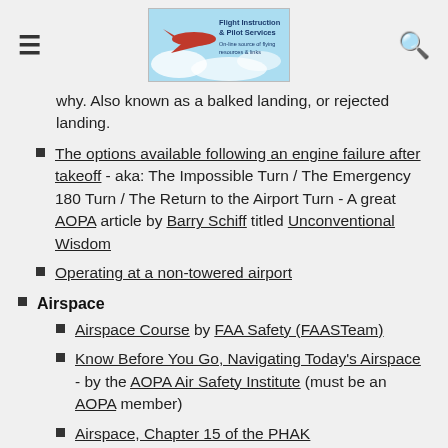Flight Instruction & Pilot Services
why. Also known as a balked landing, or rejected landing.
The options available following an engine failure after takeoff - aka: The Impossible Turn / The Emergency 180 Turn / The Return to the Airport Turn - A great AOPA article by Barry Schiff titled Unconventional Wisdom
Operating at a non-towered airport
Airspace
Airspace Course by FAA Safety (FAASTeam)
Know Before You Go, Navigating Today's Airspace - by the AOPA Air Safety Institute (must be an AOPA member)
Airspace, Chapter 15 of the PHAK
Airspace Flashcards - A great way to test your understanding of airspace by the AOPA Air Safety...